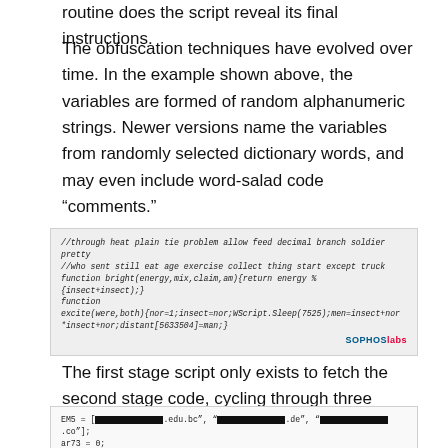routine does the script reveal its final instructions.
The obfuscation techniques have evolved over time. In the example shown above, the variables are formed of random alphanumeric strings. Newer versions name the variables from randomly selected dictionary words, and may even include word-salad code “comments.”
[Figure (screenshot): Code screenshot showing obfuscated JavaScript with word-salad comments and function names like 'bright', 'excite', and WScript.Sleep call. SophosLabs watermark in bottom right.]
The first stage script only exists to fetch the second stage code, cycling through three different hardcoded web domains if necessary.
[Figure (screenshot): Code screenshot showing variable assignment with three redacted domain strings (.edu.bc, .de, .co), a while loop, and WScript CreateObject call.]